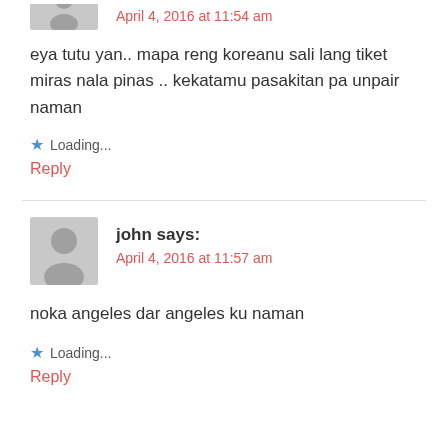April 4, 2016 at 11:54 am
eya tutu yan.. mapa reng koreanu sali lang tiket miras nala pinas .. kekatamu pasakitan pa unpair naman
Loading...
Reply
john says:
April 4, 2016 at 11:57 am
noka angeles dar angeles ku naman
Loading...
Reply